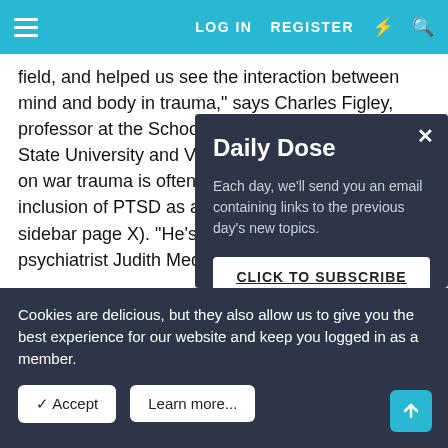LOG IN   REGISTER
field, and helped us see the interaction between mind and body in trauma," says Charles Figley, professor at the School of Social Work at Florida State University and Vietnam vet, whose early work on war trauma is often credited with prompting the inclusion of PTSD as a diagnosis in the DSM (see sidebar page X). "He's on... in the trauma field... psychiatrist Judith... Medical School.
At the same time, most controversial... offering his own d... scandalized a number of cognitive-behavioral therapists and
[Figure (screenshot): Daily Dose modal popup with dark background. Title: 'Daily Dose'. Body text: 'Each day, we'll send you an email containing links to the previous day's new topics.' Button: 'CLICK TO SUBSCRIBE']
Cookies are delicious, but they also allow us to give you the best experience for our website and keep you logged in as a member.
✓ Accept   Learn more...